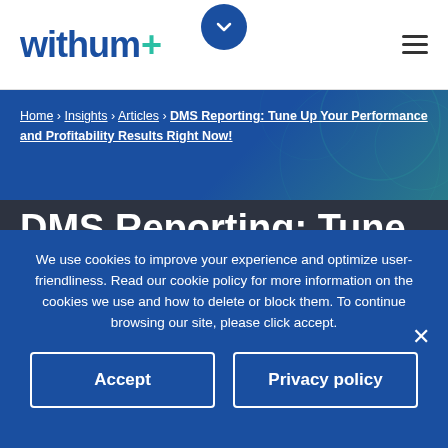withum+
Home › Insights › Articles › DMS Reporting: Tune Up Your Performance and Profitability Results Right Now!
DMS Reporting: Tune Up Your Performance and
We use cookies to improve your experience and optimize user-friendliness. Read our cookie policy for more information on the cookies we use and how to delete or block them. To continue browsing our site, please click accept.